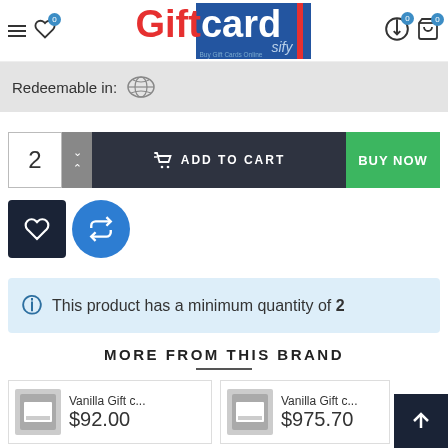GiftCard Sify - Buy Gift Cards Online
Redeemable in:
2  ADD TO CART  BUY NOW
This product has a minimum quantity of 2
MORE FROM THIS BRAND
Vanilla Gift c... $92.00
Vanilla Gift c... $975.70